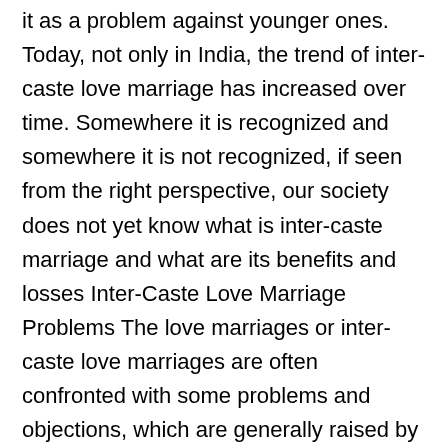it as a problem against younger ones. Today, not only in India, the trend of inter-caste love marriage has increased over time. Somewhere it is recognized and somewhere it is not recognized, if seen from the right perspective, our society does not yet know what is inter-caste marriage and what are its benefits and losses Inter-Caste Love Marriage Problems The love marriages or inter-caste love marriages are often confronted with some problems and objections, which are generally raised by the concerned families, societies, or other near and dear ones. The varieties of the inter-caste love marriage problems could fall under the following broad categories: Differences in birth horoscopes Suspicions regarding compatibility and conjugal harmony Dissimilarities of familial traditions and cultures Difference in the financial or social status Social disturbances or objections Familial disagreement or objections Differing attitudes and lifestyle of the two partners Apprehensions about the stability of marriage Differences in the likes and priorities of the two persons